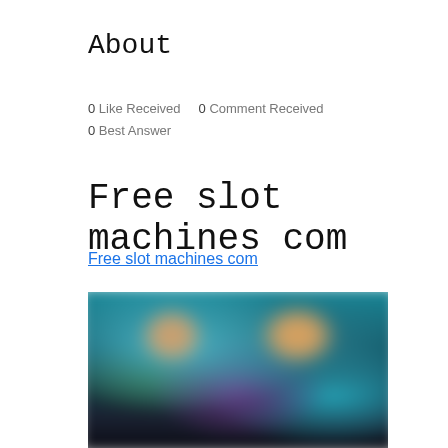About
0 Like Received    0 Comment Received
0 Best Answer
Free slot machines com
Free slot machines com
[Figure (photo): Blurred screenshot of a slot machine game interface showing colorful game thumbnails with character imagery on a dark teal/blue background.]